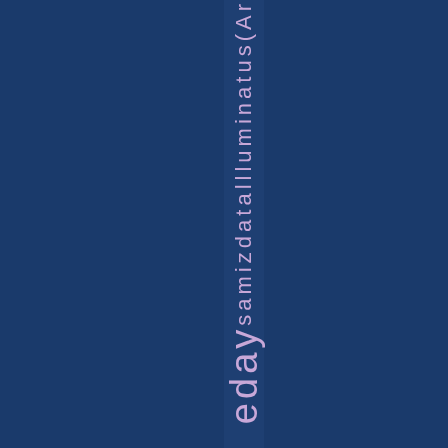[Figure (other): Dark navy blue background page with a vertical strip containing rotated text reading 'e d a y s a m i z d a t a l l l u m i n a t u s ( A r' in light purple/lavender color on a slightly lighter navy vertical band]